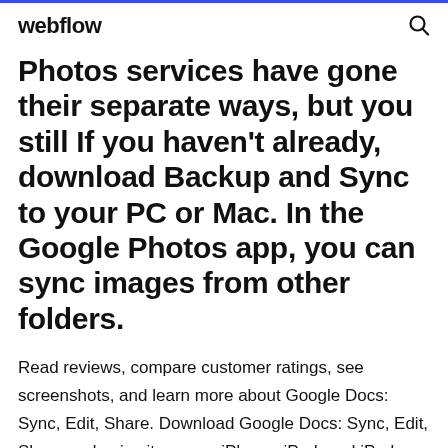webflow
Photos services have gone their separate ways, but you still If you haven't already, download Backup and Sync to your PC or Mac. In the Google Photos app, you can sync images from other folders.
Read reviews, compare customer ratings, see screenshots, and learn more about Google Docs: Sync, Edit, Share. Download Google Docs: Sync, Edit, Share and enjoy it on your iPhone, iPad, and iPod touch. Download Google Photos . Free and safe download. Download the